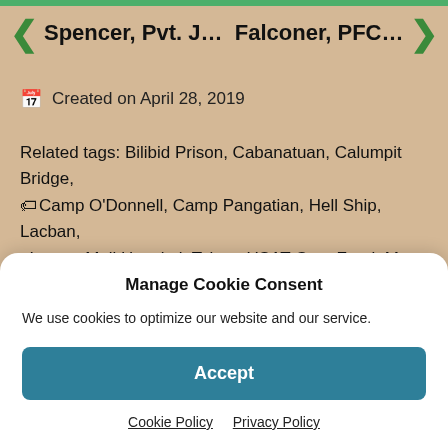Spencer, Pvt. J…  Falconer, PFC. …
Created on April 28, 2019
Related tags: Bilibid Prison, Cabanatuan, Calumpit Bridge, Camp O'Donnell, Camp Pangatian, Hell Ship, Lacban, Luzon, Moji Hospital, Takao, USAT Gen. Frank M. Coxe
Leave a Reply
Manage Cookie Consent
We use cookies to optimize our website and our service.
Accept
Cookie Policy  Privacy Policy